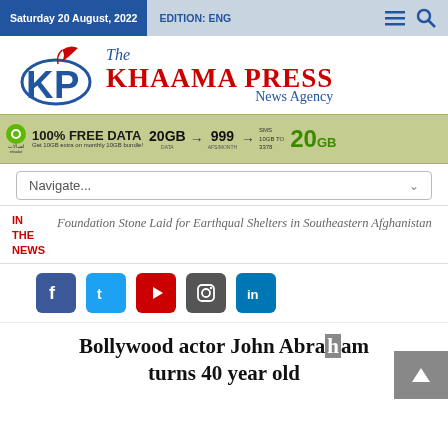Saturday 20 August, 2022  EDITION: ENG
[Figure (logo): The Khaama Press News Agency logo with stylized KP lettermark in red and blue, and red feather/quill graphic]
[Figure (infographic): Etisalat ad banner: 100% FREE DATA, 20GB DATA, 999 AFS/MONTH, SMS 10GB TO 3378, 20GB promotional offer]
Navigate...
IN THE NEWS
Foundation Stone Laid for Earthqual Shelters in Southeastern Afghanistan
[Figure (infographic): Social media icons row: Facebook, Twitter, YouTube, Instagram, LinkedIn]
Bollywood actor John Abraham turns 40 year old